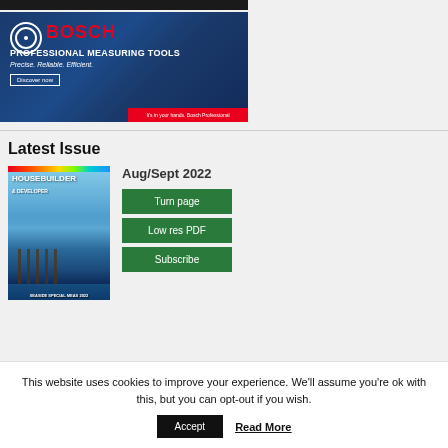[Figure (photo): Dark photo strip at top of page, partial person visible]
[Figure (illustration): Bosch Professional Measuring Tools advertisement banner with blue background, Bosch logo, red brand name, tagline 'Precise. Reliable. Efficient.', Discover now button, and red footer strip with 'It's in your hands. Bosch Professional']
Latest Issue
[Figure (photo): Housebuilder & Developer magazine cover for Aug/Sept 2022, showing a seaside pier with blue water]
Aug/Sept 2022
Turn page
Low res PDF
Subscribe
This website uses cookies to improve your experience. We'll assume you're ok with this, but you can opt-out if you wish.
Accept
Read More